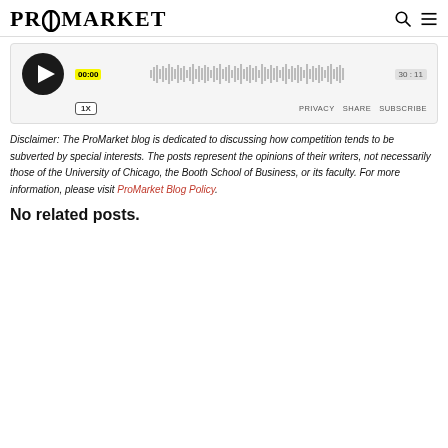PROMARKET
[Figure (screenshot): Audio player widget showing play button, waveform, timestamp 00:00 / 30:11, speed 1X, and links for PRIVACY, SHARE, SUBSCRIBE]
Disclaimer: The ProMarket blog is dedicated to discussing how competition tends to be subverted by special interests. The posts represent the opinions of their writers, not necessarily those of the University of Chicago, the Booth School of Business, or its faculty. For more information, please visit ProMarket Blog Policy.
No related posts.